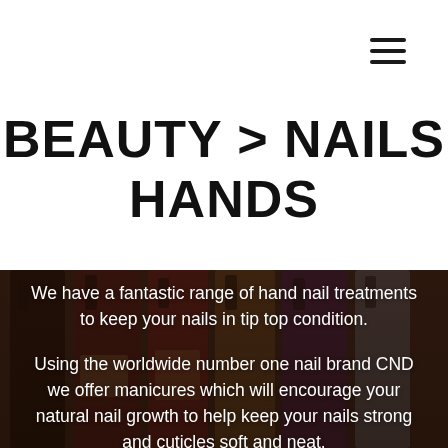[Figure (other): Hamburger menu icon (three horizontal lines) in top right corner]
BEAUTY > NAILS HANDS
[Figure (photo): Background photo of multiple nail polish bottles (dark reds, bronzes, purples) with white text overlaid describing hand nail treatment services using CND brand]
We have a fantastic range of hand nail treatments to keep your nails in tip top condition.
Using the worldwide number one nail brand CND we offer manicures which will encourage your natural nail growth to help keep your nails strong and cuticles soft and neat.